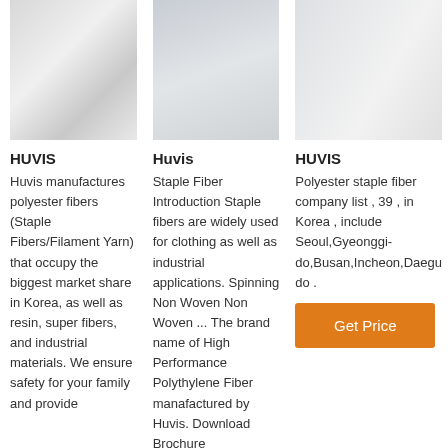[Figure (photo): Close-up photo of white polyester fabric/fiber material]
[Figure (photo): Close-up photo of white fabric/fiber material]
[Figure (photo): Close-up photo of white polyester staple fiber material]
HUVIS
Huvis manufactures polyester fibers (Staple Fibers/Filament Yarn) that occupy the biggest market share in Korea, as well as resin, super fibers, and industrial materials. We ensure safety for your family and provide
Huvis
Staple Fiber Introduction Staple fibers are widely used for clothing as well as industrial applications. Spinning Non Woven Non Woven ... The brand name of High Performance Polythylene Fiber manafactured by Huvis. Download Brochure
HUVIS
Polyester staple fiber company list , 39 , in Korea , include Seoul,Gyeonggi-do,Busan,Incheon,Daegu do .
Get Price